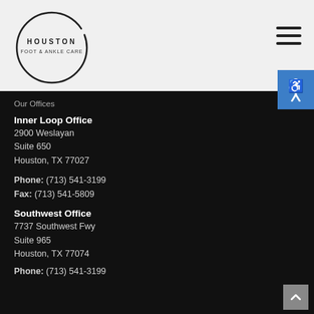[Figure (logo): Houston Foot & Ankle Care circular logo with black brushstroke circle and text in the center]
[Figure (other): Hamburger menu icon (three horizontal lines)]
[Figure (other): Accessibility icon in blue square]
Our Offices
Inner Loop Office
2900 Weslayan
Suite 650
Houston, TX 77027
Phone: (713) 541-3199
Fax: (713) 541-5809
Southwest Office
7737 Southwest Fwy
Suite 965
Houston, TX 77074
Phone: (713) 541-3199